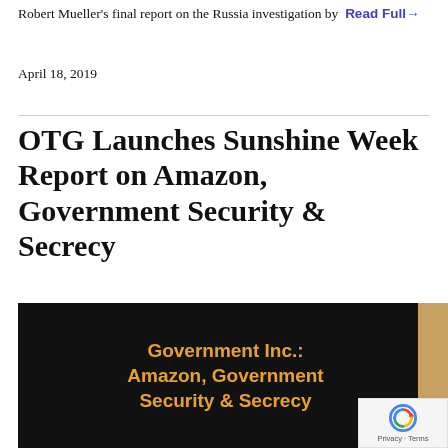Robert Mueller's final report on the Russia investigation by  Read Full→
April 18, 2019
OTG Launches Sunshine Week Report on Amazon, Government Security & Secrecy
[Figure (photo): Black banner with orange/gold bold text reading 'Government Inc.: Amazon, Government Security & Secrecy', with a tan/brown sidebar strip and a reCAPTCHA badge overlay in the bottom right corner showing Privacy · Terms]